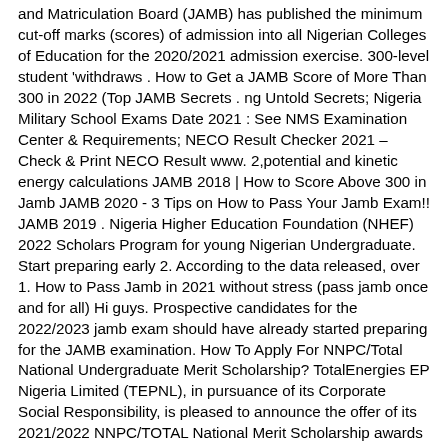and Matriculation Board (JAMB) has published the minimum cut-off marks (scores) of admission into all Nigerian Colleges of Education for the 2020/2021 admission exercise. 300-level student 'withdraws . How to Get a JAMB Score of More Than 300 in 2022 (Top JAMB Secrets . ng Untold Secrets; Nigeria Military School Exams Date 2021 : See NMS Examination Center & Requirements; NECO Result Checker 2021 – Check & Print NECO Result www. 2,potential and kinetic energy calculations JAMB 2018 | How to Score Above 300 in Jamb JAMB 2020 - 3 Tips on How to Pass Your Jamb Exam!! JAMB 2019 . Nigeria Higher Education Foundation (NHEF) 2022 Scholars Program for young Nigerian Undergraduate. Start preparing early 2. According to the data released, over 1. How to Pass Jamb in 2021 without stress (pass jamb once and for all) Hi guys. Prospective candidates for the 2022/2023 jamb exam should have already started preparing for the JAMB examination. How To Apply For NNPC/Total National Undergraduate Merit Scholarship? TotalEnergies EP Nigeria Limited (TEPNL), in pursuance of its Corporate Social Responsibility, is pleased to announce the offer of its 2021/2022 NNPC/TOTAL National Merit Scholarship awards to deserving Nigerian students in the tertiary institutions in the country. A popular Nigerian Journalist has take it upon himself to seek for justice for a young girl that was denied admission into a prestigious higher institution despite making the required cutoff marks set as benchmarks for admission. In 2019, the percentage of those who scored more than 200 out of the possible 400 marks was